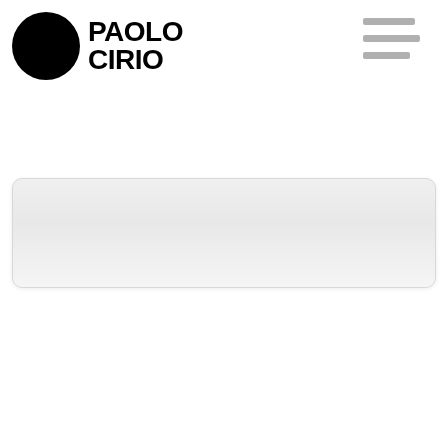[Figure (logo): Paolo Cirio logo: black circle on the left, bold black text PAOLO CIRIO on the right, with a hamburger menu icon (three gray horizontal bars) in the top right corner]
[Figure (other): A light gray rounded rectangle content placeholder box with a subtle gradient, positioned in the upper-middle area of the page]